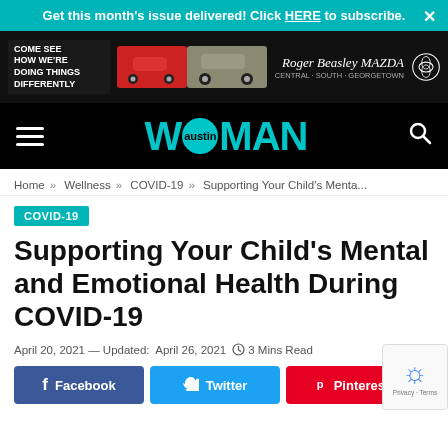Get this month's issue delivered! Click HERE to subscribe.  ×
[Figure (illustration): Roger Beasley Mazda advertisement banner with two cars and Mazda logo]
[Figure (logo): Austin Woman magazine logo in teal on black navigation bar with hamburger menu and search icon]
Home » Wellness » COVID-19 » Supporting Your Child's Menta...
COVID-19
Supporting Your Child's Mental and Emotional Health During COVID-19
April 20, 2021 — Updated: April 26, 2021  ⏱ 3 Mins Read
f  Facebook    Twitter    ® Pinterest